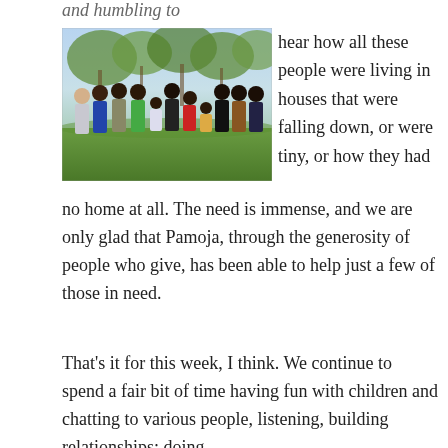and humbling to
[Figure (photo): Group photo of approximately 12 people, including one older white woman and several African women and children, standing outdoors on grass with trees in the background.]
hear how all these people were living in houses that were falling down, or were tiny, or how they had no home at all. The need is immense, and we are only glad that Pamoja, through the generosity of people who give, has been able to help just a few of those in need.
That’s it for this week, I think. We continue to spend a fair bit of time having fun with children and chatting to various people, listening, building relationships; doing